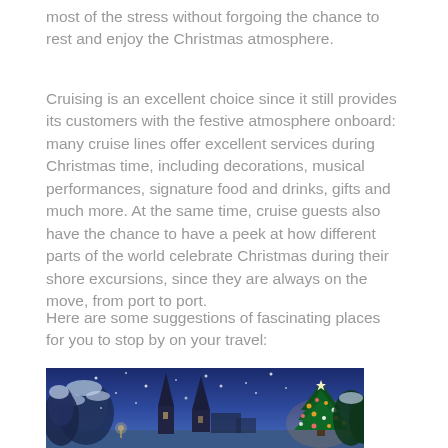most of the stress without forgoing the chance to rest and enjoy the Christmas atmosphere.
Cruising is an excellent choice since it still provides its customers with the festive atmosphere onboard: many cruise lines offer excellent services during Christmas time, including decorations, musical performances, signature food and drinks, gifts and much more. At the same time, cruise guests also have the chance to have a peek at how different parts of the world celebrate Christmas during their shore excursions, since they are always on the move, from port to port.
Here are some suggestions of fascinating places for you to stop by on your travel:
[Figure (photo): A Christmas night scene with snow falling, snow-covered trees, church spires in the background, and a decorated Christmas tree with warm lights on the right. The sky is a deep blue color with snowflakes visible.]